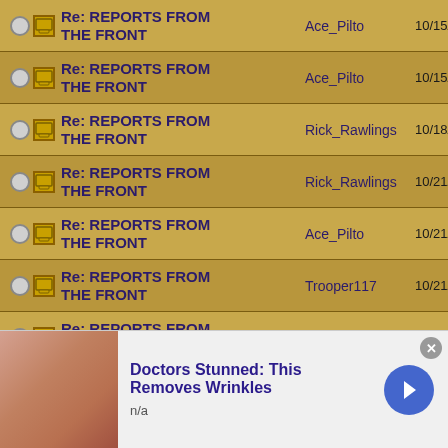Re: REPORTS FROM THE FRONT | Ace_Pilto | 10/15/19 04:34 PM
Re: REPORTS FROM THE FRONT | Ace_Pilto | 10/15/19 07:17 PM
Re: REPORTS FROM THE FRONT | Rick_Rawlings | 10/18/19 04:21 AM
Re: REPORTS FROM THE FRONT | Rick_Rawlings | 10/21/19 02:02 AM
Re: REPORTS FROM THE FRONT | Ace_Pilto | 10/21/19 10:09 AM
Re: REPORTS FROM THE FRONT | Trooper117 | 10/21/19 10:37 AM
Re: REPORTS FROM THE FRONT | Rick_Rawlings | 10/21/19 12:38 PM
Re: REPORTS FROM THE FRONT | Rick_Rawlings | 10/23/19 04:34 AM
[Figure (screenshot): Advertisement banner: Doctors Stunned: This Removes Wrinkles, n/a, with photo and arrow button]